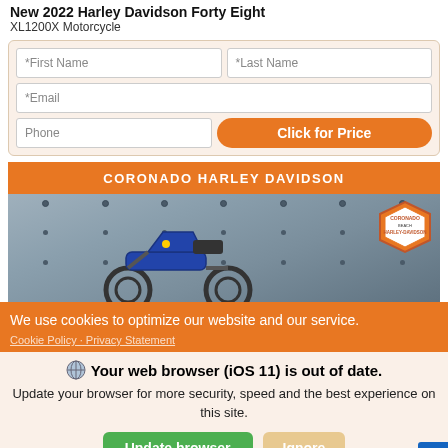New 2022 Harley Davidson Forty Eight XL1200X Motorcycle
[Figure (screenshot): Web form with First Name, Last Name, Email, Phone fields and orange Click for Price button]
CORONADO HARLEY DAVIDSON
[Figure (photo): Harley Davidson dealership banner image with motorcycle and Coronado Beach Harley-Davidson badge/logo]
We use cookies to optimize our website and our service.
Cookie Policy · Privacy Statement
Your web browser (iOS 11) is out of date. Update your browser for more security, speed and the best experience on this site.
Update browser    Ignore